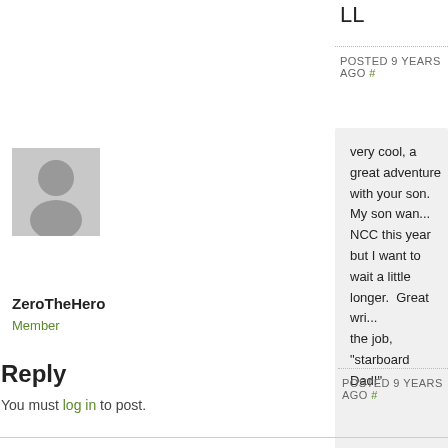LL
POSTED 9 YEARS AGO #
[Figure (illustration): Gray placeholder avatar icon for user ZeroTheHero]
ZeroTheHero
Member
very cool, a great adventure with your son.  My son wan... NCC this year but I want to wait a little longer.  Great wri... the job, "starboard Dad!"
POSTED 9 YEARS AGO #
Reply
You must log in to post.